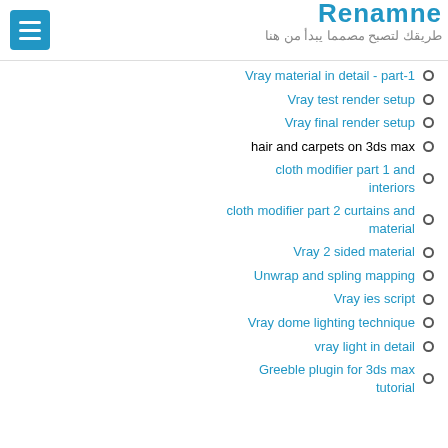Renamne | طريقك لتصبح مصمما يبدأ من هنا
Vray material in detail - part-1
Vray test render setup
Vray final render setup
hair and carpets on 3ds max
cloth modifier part 1 and interiors
cloth modifier part 2 curtains and material
Vray 2 sided material
Unwrap and spling mapping
Vray ies script
Vray dome lighting technique
vray light in detail
Greeble plugin for 3ds max tutorial